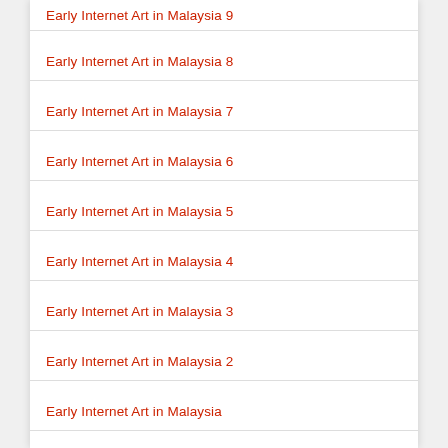Early Internet Art in Malaysia 9
Early Internet Art in Malaysia 8
Early Internet Art in Malaysia 7
Early Internet Art in Malaysia 6
Early Internet Art in Malaysia 5
Early Internet Art in Malaysia 4
Early Internet Art in Malaysia 3
Early Internet Art in Malaysia 2
Early Internet Art in Malaysia
Malaysian Indian Artists 2
Malaysian Indian Artists